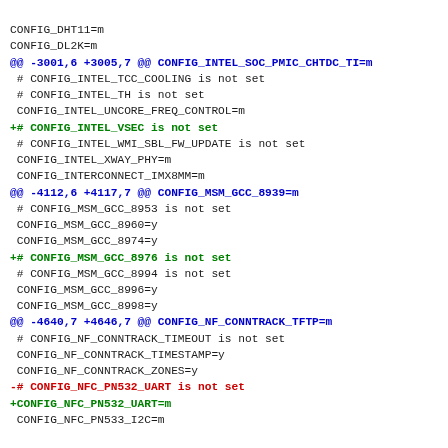CONFIG_DHT11=m
CONFIG_DL2K=m
@@ -3001,6 +3005,7 @@ CONFIG_INTEL_SOC_PMIC_CHTDC_TI=m
 # CONFIG_INTEL_TCC_COOLING is not set
 # CONFIG_INTEL_TH is not set
 CONFIG_INTEL_UNCORE_FREQ_CONTROL=m
+# CONFIG_INTEL_VSEC is not set
 # CONFIG_INTEL_WMI_SBL_FW_UPDATE is not set
 CONFIG_INTEL_XWAY_PHY=m
 CONFIG_INTERCONNECT_IMX8MM=m
@@ -4112,6 +4117,7 @@ CONFIG_MSM_GCC_8939=m
 # CONFIG_MSM_GCC_8953 is not set
 CONFIG_MSM_GCC_8960=y
 CONFIG_MSM_GCC_8974=y
+# CONFIG_MSM_GCC_8976 is not set
 # CONFIG_MSM_GCC_8994 is not set
 CONFIG_MSM_GCC_8996=y
 CONFIG_MSM_GCC_8998=y
@@ -4640,7 +4646,7 @@ CONFIG_NF_CONNTRACK_TFTP=m
 # CONFIG_NF_CONNTRACK_TIMEOUT is not set
 CONFIG_NF_CONNTRACK_TIMESTAMP=y
 CONFIG_NF_CONNTRACK_ZONES=y
-# CONFIG_NFC_PN532_UART is not set
+CONFIG_NFC_PN532_UART=m
 CONFIG_NFC_PN533_I2C=m